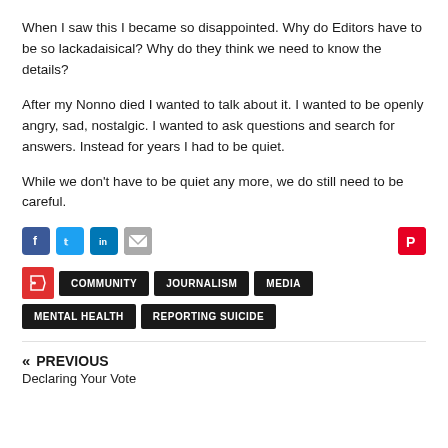When I saw this I became so disappointed. Why do Editors have to be so lackadaisical? Why do they think we need to know the details?
After my Nonno died I wanted to talk about it. I wanted to be openly angry, sad, nostalgic. I wanted to ask questions and search for answers. Instead for years I had to be quiet.
While we don't have to be quiet any more, we do still need to be careful.
[Figure (infographic): Social share icons: Facebook (blue), Twitter (cyan), LinkedIn (blue), Email (grey), Pinterest (red)]
[Figure (infographic): Tag buttons: tag icon (red), COMMUNITY (black), JOURNALISM (black), MEDIA (black), MENTAL HEALTH (black), REPORTING SUICIDE (black)]
« PREVIOUS
Declaring Your Vote